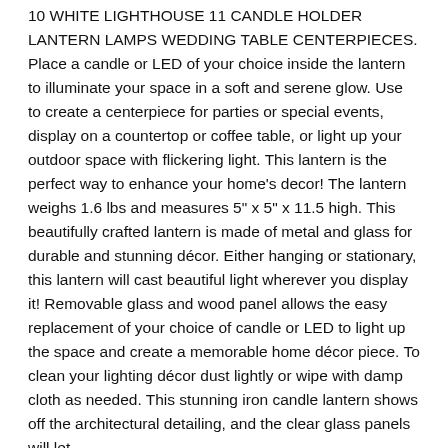10 WHITE LIGHTHOUSE 11 CANDLE HOLDER LANTERN LAMPS WEDDING TABLE CENTERPIECES. Place a candle or LED of your choice inside the lantern to illuminate your space in a soft and serene glow. Use to create a centerpiece for parties or special events, display on a countertop or coffee table, or light up your outdoor space with flickering light. This lantern is the perfect way to enhance your home's decor! The lantern weighs 1.6 lbs and measures 5" x 5" x 11.5 high. This beautifully crafted lantern is made of metal and glass for durable and stunning décor. Either hanging or stationary, this lantern will cast beautiful light wherever you display it! Removable glass and wood panel allows the easy replacement of your choice of candle or LED to light up the space and create a memorable home décor piece. To clean your lighting décor dust lightly or wipe with damp cloth as needed. This stunning iron candle lantern shows off the architectural detailing, and the clear glass panels will let